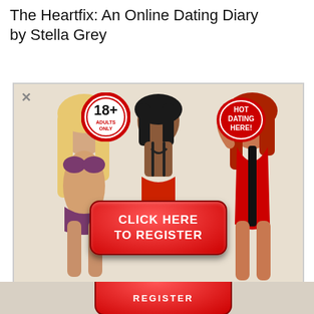The Heartfix: An Online Dating Diary by Stella Grey
[Figure (advertisement): Adult dating website advertisement popup with three women in lingerie/swimwear, an 18+ Adults Only badge, a 'HOT DATING HERE!' badge, and a red 'CLICK HERE TO REGISTER' button. A close (X) button appears in the top-left corner of the popup.]